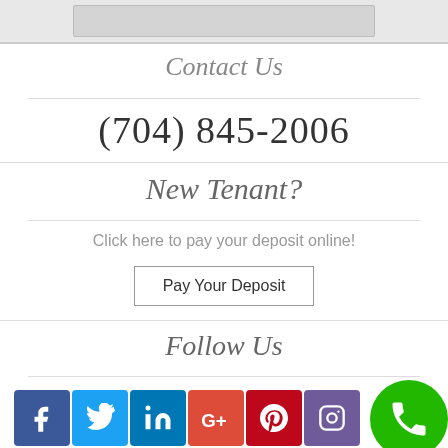[Figure (screenshot): Top portion of a webpage widget showing a gray image strip at the top]
Contact Us
(704) 845-2006
New Tenant?
Click here to pay your deposit online!
Pay Your Deposit
Follow Us
[Figure (infographic): Social media icons: Facebook, Twitter, LinkedIn, Google+, Pinterest, Instagram, and a green phone button circle]